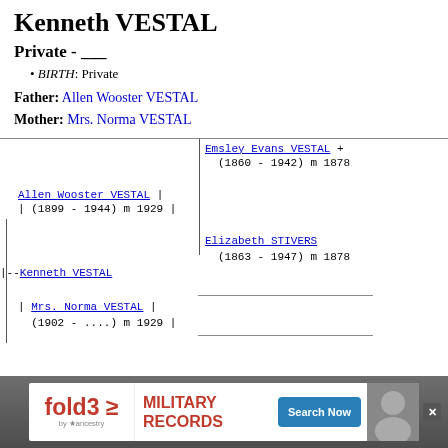Kenneth VESTAL
Private - ___
BIRTH: Private
Father: Allen Wooster VESTAL
Mother: Mrs. Norma VESTAL
[Figure (other): Genealogy family tree diagram showing Kenneth VESTAL with parents Allen Wooster VESTAL (1899-1944) m 1929 and Mrs. Norma VESTAL (1902-....) m 1929, and paternal grandparents Emsley Evans VESTAL (1860-1942) m 1878 and Elizabeth STIVERS (1863-1947) m 1878]
[Figure (other): Advertisement banner for fold3 Military Records by Ancestry with Search Now button]